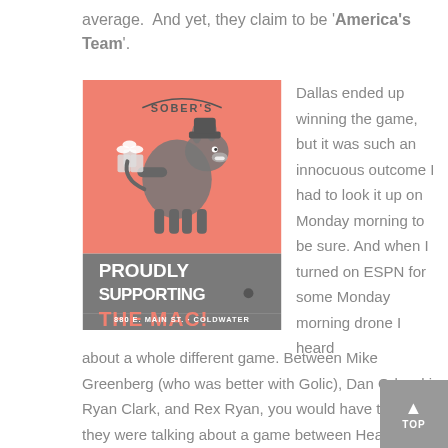average.  And yet, they claim to be 'America's Team'.
[Figure (illustration): Sober's bar advertisement with a cartoon donkey holding beers on a salmon/coral background. Text reads: PROUDLY SUPPORTING THE MAC! 880 E. MAIN ST. · COLDWATER]
Dallas ended up winning the game, but it was such an innocuous outcome I had to look it up on Monday morning to be sure. And when I turned on ESPN for some Monday morning drone I heard about a whole different game. Between Mike Greenberg (who was better with Golic), Dan Orlovski, Ryan Clark, and Rex Ryan, you would have thought they were talking about a game between Heaven and